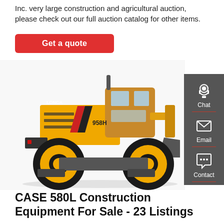Inc. very large construction and agricultural auction, please check out our full auction catalog for other items.
[Figure (other): Red rounded-rectangle button with white text: 'Get a quote']
[Figure (photo): Yellow wheel loader construction machine (labeled FL 958H) photographed from the side on a white background]
[Figure (infographic): Dark gray sidebar with three icons and labels: Chat (headset icon), Email (envelope icon), Contact (speech bubble with dots icon). Each separated by a red line.]
CASE 580L Construction Equipment For Sale - 23 Listings